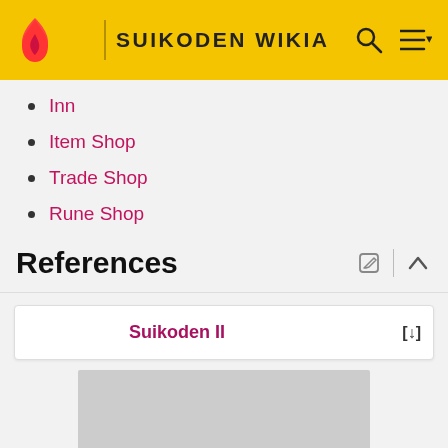SUIKODEN WIKIA
Inn
Item Shop
Trade Shop
Rune Shop
References
| Suikoden II | [↓] |
| --- | --- |
[Figure (other): Gray image placeholder below Suikoden II reference table]